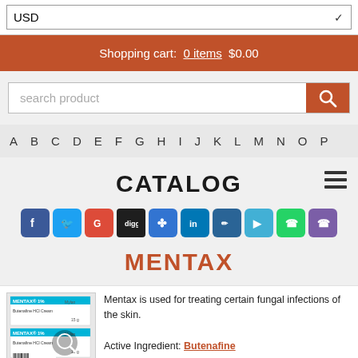USD (dropdown)
Shopping cart: 0 items $0.00
search product
A B C D E F G H I J K L M N O P
CATALOG
[Figure (other): Social sharing icons row: Facebook, Twitter, Google+, Digg, Delicious, LinkedIn, NK, Twitter/Flyer, WhatsApp, Viber]
MENTAX
[Figure (photo): Product image of Mentax 1% cream boxes with search icon overlay]
Mentax is used for treating certain fungal infections of the skin.

Active Ingredient: Butenafine